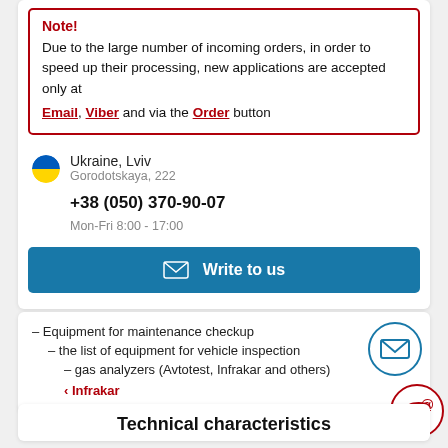Note! Due to the large number of incoming orders, in order to speed up their processing, new applications are accepted only at Email, Viber and via the Order button
Ukraine, Lviv
Gorodotskaya, 222
+38 (050) 370-90-07
Mon-Fri 8:00 - 17:00
Write to us
Equipment for maintenance checkup
the list of equipment for vehicle inspection
gas analyzers (Avtotest, Infrakar and others)
< Infrakar
Technical characteristics